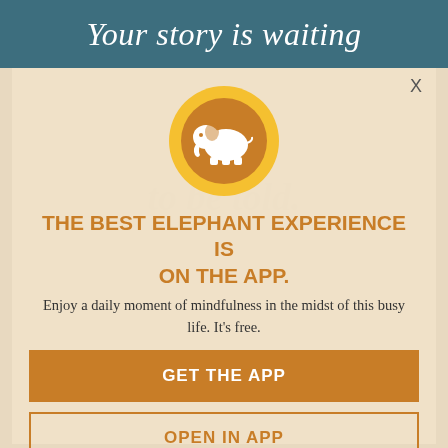Your story is waiting
to be told.
[Figure (logo): White elephant silhouette icon centered in an orange circle with golden outer ring — Elephant Journal app logo]
THE BEST ELEPHANT EXPERIENCE IS ON THE APP.
Enjoy a daily moment of mindfulness in the midst of this busy life. It's free.
GET THE APP
OPEN IN APP